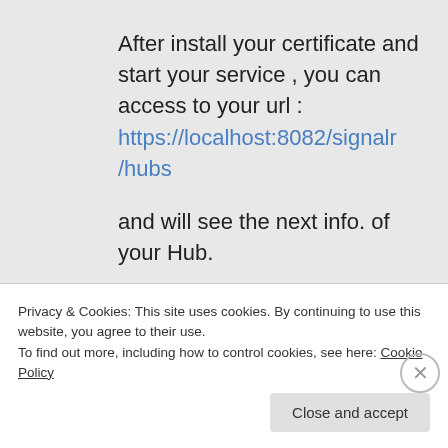After install your certificate and start your service , you can access to your url : https://localhost:8082/signalr/hubs
and will see the next info. of your Hub.
/*!
* ASP.NET SignalR
Privacy & Cookies: This site uses cookies. By continuing to use this website, you agree to their use.
To find out more, including how to control cookies, see here: Cookie Policy